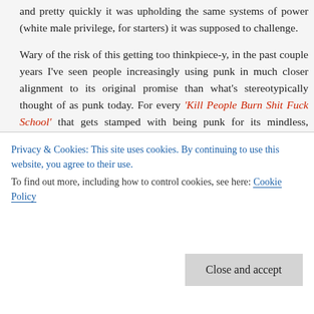and pretty quickly it was upholding the same systems of power (white male privilege, for starters) it was supposed to challenge.
Wary of the risk of this getting too thinkpiece-y, in the past couple years I've seen people increasingly using punk in much closer alignment to its original promise than what's stereotypically thought of as punk today. For every 'Kill People Burn Shit Fuck School' that gets stamped with being punk for its mindless, destructive value, civil-minded folks like Ted Leo and John Darnielle and Titus Andronicus are using it to reclaim the idea that punk means subverting inequality like patriarchal dominance
Privacy & Cookies: This site uses cookies. By continuing to use this website, you agree to their use.
To find out more, including how to control cookies, see here: Cookie Policy
Titus Andronicus are part of the solution.
For any conscientious, young, Tumblr-grown